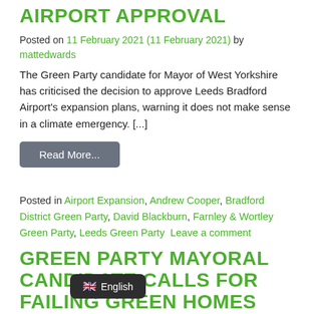AIRPORT APPROVAL
Posted on 11 February 2021 (11 February 2021) by mattedwards
The Green Party candidate for Mayor of West Yorkshire has criticised the decision to approve Leeds Bradford Airport's expansion plans, warning it does not make sense in a climate emergency. [...]
Read More...
Posted in Airport Expansion, Andrew Cooper, Bradford District Green Party, David Blackburn, Farnley & Wortley Green Party, Leeds Green Party  Leave a comment
GREEN PARTY MAYORAL CANDIDATE CALLS FOR FAILING GREEN HOMES SCHEME TO BE BROUGHT UNDER REGIONAL CONTROL